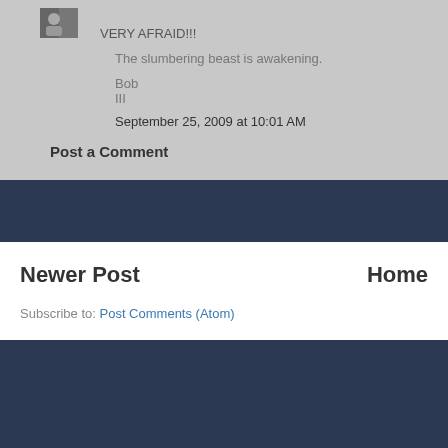[Figure (photo): Small avatar/profile photo thumbnail in grayscale]
VERY AFRAID!!!
The slumbering beast is awakening.
Bob
III
September 25, 2009 at 10:01 AM
Post a Comment
Newer Post
Home
Subscribe to: Post Comments (Atom)